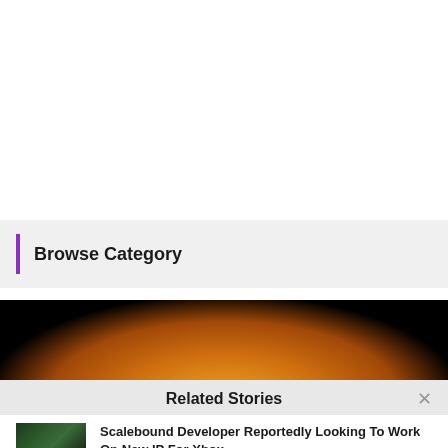Browse Category
[Figure (photo): Movie promotional banner with golden fantasy imagery showing characters with wings and glowing light on dark background]
Related Stories
[Figure (photo): Thumbnail image for Scalebound game article showing a character with a dragon]
Scalebound Developer Reportedly Looking To Work On New IP For Xbox